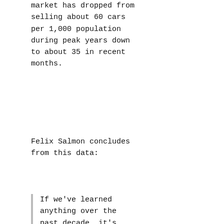market has dropped from selling about 60 cars per 1,000 population during peak years down to about 35 in recent months.
Felix Salmon concludes from this data:
If we've learned anything over the past decade, it's that things can stay at unsustainable levels for much longer than anybody might imagine. And over the medium term, it's far from obvious that auto sales in the 9-10 million range are